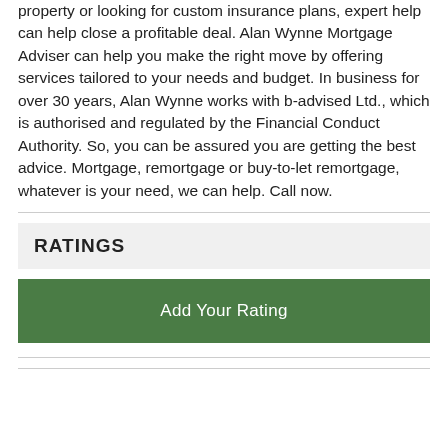property or looking for custom insurance plans, expert help can help close a profitable deal. Alan Wynne Mortgage Adviser can help you make the right move by offering services tailored to your needs and budget. In business for over 30 years, Alan Wynne works with b-advised Ltd., which is authorised and regulated by the Financial Conduct Authority. So, you can be assured you are getting the best advice. Mortgage, remortgage or buy-to-let remortgage, whatever is your need, we can help. Call now.
RATINGS
Add Your Rating